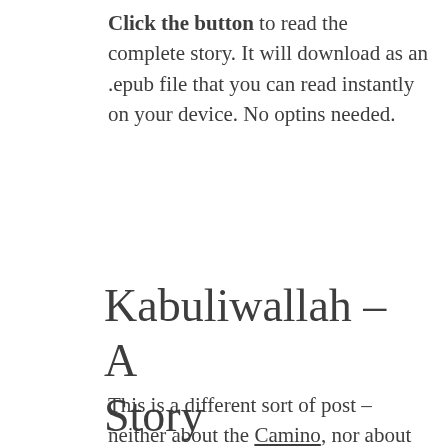Click the button to read the complete story. It will download as an .epub file that you can read instantly on your device. No optins needed.
Kabuliwallah – A Story
This is a different sort of post – neither about the Camino, nor about hiking. This week's events put that out of my mind. I keep politics out of my blogs, and news...